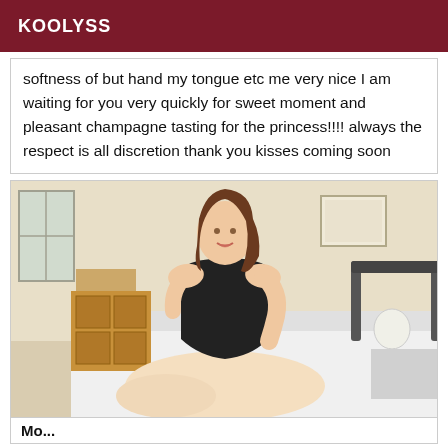KOOLYSS
softness of but hand my tongue etc me very nice I am waiting for you very quickly for sweet moment and pleasant champagne tasting for the princess!!!! always the respect is all discretion thank you kisses coming soon
[Figure (photo): A woman in a black strapless bodysuit posing on a white bed in a bedroom with wooden furniture and a lamp visible in the background.]
Mo...